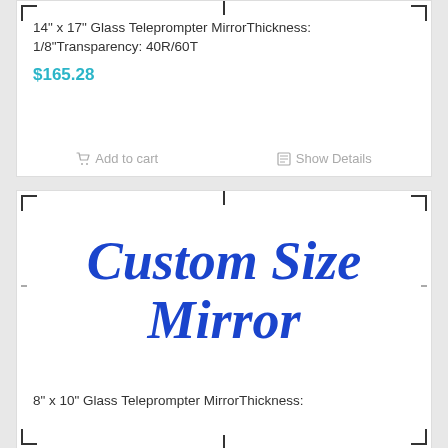14" x 17" Glass Teleprompter MirrorThickness: 1/8"Transparency: 40R/60T
$165.28
Add to cart
Show Details
[Figure (illustration): Product placeholder image with corner registration marks and center tick marks, containing bold italic blue text reading 'Custom Size Mirror']
8" x 10" Glass Teleprompter MirrorThickness: